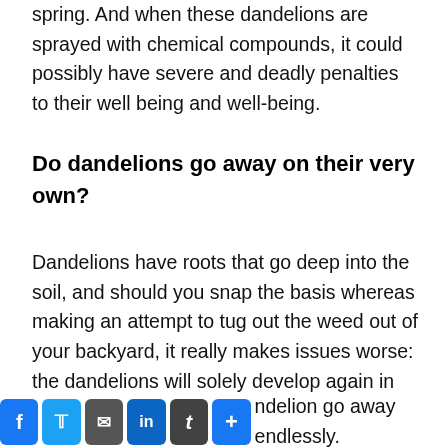spring. And when these dandelions are sprayed with chemical compounds, it could possibly have severe and deadly penalties to their well being and well-being.
Do dandelions go away on their very own?
Dandelions have roots that go deep into the soil, and should you snap the basis whereas making an attempt to tug out the weed out of your backyard, it really makes issues worse: the dandelions will solely develop again in full power. It will go down and kill the plant for good, making the dandelion go away endlessly.
[Figure (other): Social sharing bar with Facebook, Twitter, Email, LinkedIn, Tumblr, and plus button icons]